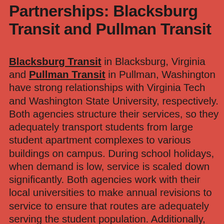Partnerships: Blacksburg Transit and Pullman Transit
Blacksburg Transit in Blacksburg, Virginia and Pullman Transit in Pullman, Washington have strong relationships with Virginia Tech and Washington State University, respectively. Both agencies structure their services, so they adequately transport students from large student apartment complexes to various buildings on campus. During school holidays, when demand is low, service is scaled down significantly. Both agencies work with their local universities to make annual revisions to service to ensure that routes are adequately serving the student population. Additionally, Blacksburg Transit often uses students from Virginia Tech's Urban Affairs and Planning